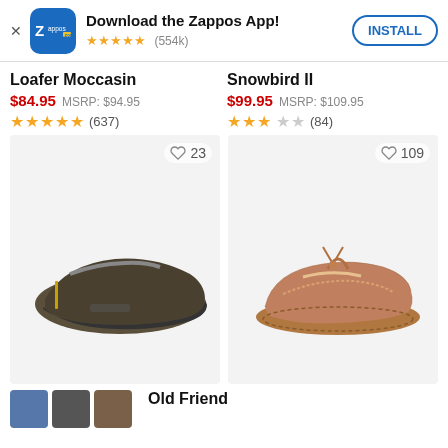[Figure (screenshot): Zappos app install banner with logo, star rating (554k reviews), and INSTALL button]
Loafer Moccasin
$84.95  MSRP: $94.95
★★★★★ (637)
Snowbird II
$99.95  MSRP: $109.95
★★★☆☆ (84)
[Figure (photo): Dark brown/olive slip-on loafer moccasin shoe, wishlist heart icon with count 23]
[Figure (photo): Brown suede moccasin slipper with lace, wishlist heart icon with count 109]
[Figure (photo): Row of small thumbnail images of shoes in blue, dark, and brown colors]
Old Friend